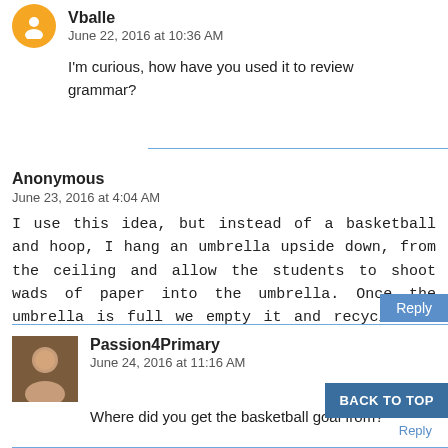Vballe
June 22, 2016 at 10:36 AM
I'm curious, how have you used it to review grammar?
Anonymous
June 23, 2016 at 4:04 AM
I use this idea, but instead of a basketball and hoop, I hang an umbrella upside down, from the ceiling and allow the students to shoot wads of paper into the umbrella. Once the umbrella is full we empty it and recycle the paper.
Reply
Passion4Primary
June 24, 2016 at 11:16 AM
Where did you get the basketball goal from?
BACK TO TOP
Reply